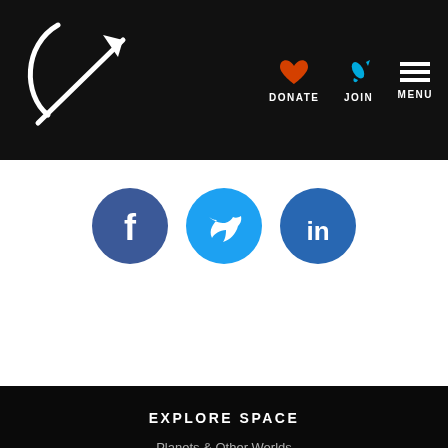Planetary Society navigation bar with DONATE, JOIN, MENU
[Figure (logo): Planetary Society rocket logo in white on dark background]
[Figure (infographic): Social media sharing icons: Facebook (dark blue circle with f), Twitter (light blue circle with bird), LinkedIn (blue circle with in)]
EXPLORE SPACE
Planets & Other Worlds
Space Missions
Night Sky
Space Policy